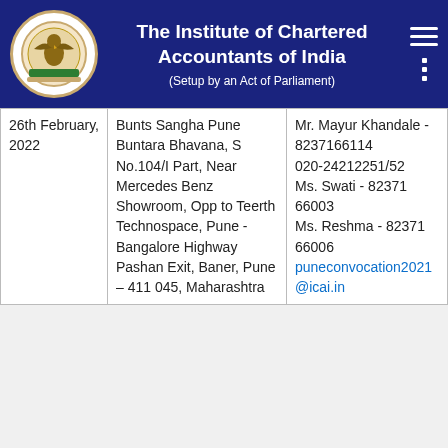The Institute of Chartered Accountants of India (Setup by an Act of Parliament)
| Date | Venue | Contact |
| --- | --- | --- |
| 26th February, 2022 | Bunts Sangha Pune Buntara Bhavana, S No.104/I Part, Near Mercedes Benz Showroom, Opp to Teerth Technospace, Pune - Bangalore Highway Pashan Exit, Baner, Pune – 411 045, Maharashtra | Mr. Mayur Khandale - 8237166114
020-24212251/52
Ms. Swati - 82371 66003
Ms. Reshma - 82371 66006
puneconvocation2021@icai.in |